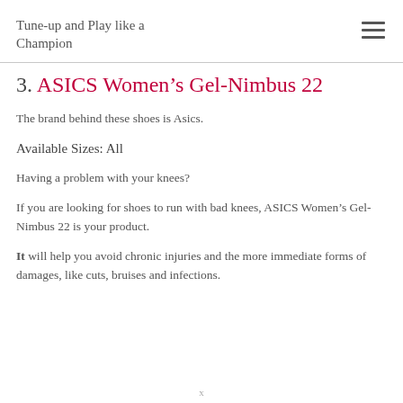Tune-up and Play like a Champion
3. ASICS Women's Gel-Nimbus 22
The brand behind these shoes is Asics.
Available Sizes: All
Having a problem with your knees?
If you are looking for shoes to run with bad knees, ASICS Women’s Gel-Nimbus 22 is your product.
It will help you avoid chronic injuries and the more immediate forms of damages, like cuts, bruises and infections.